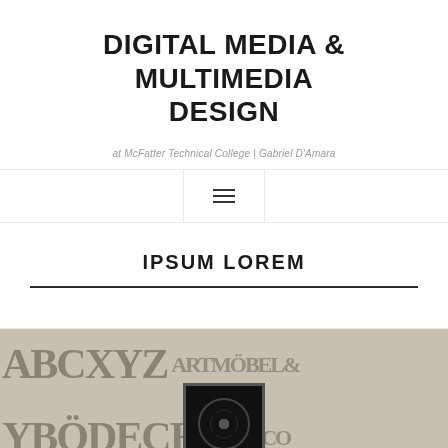DIGITAL MEDIA & MULTIMEDIA DESIGN
at McFatter Technical College | Gabriel D'Amara
IPSUM LOREM
[Figure (photo): Letterpress wooden type blocks arranged in a flat lay, with a vinyl record or dark square object partially visible in the center foreground.]